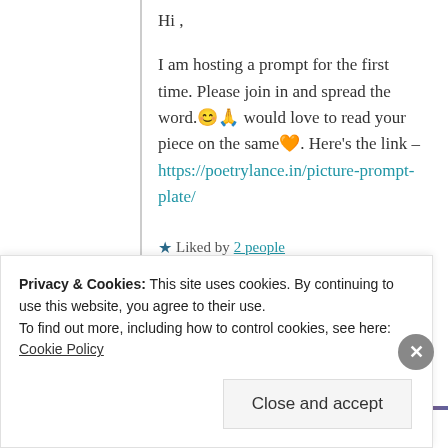Hi ,
I am hosting a prompt for the first time. Please join in and spread the word.🙂🙏 would love to read your piece on the same🧡. Here's the link – https://poetrylance.in/picture-prompt-plate/
★ Liked by 2 people
Log in to Reply
Advertisements
Privacy & Cookies: This site uses cookies. By continuing to use this website, you agree to their use. To find out more, including how to control cookies, see here: Cookie Policy
Close and accept